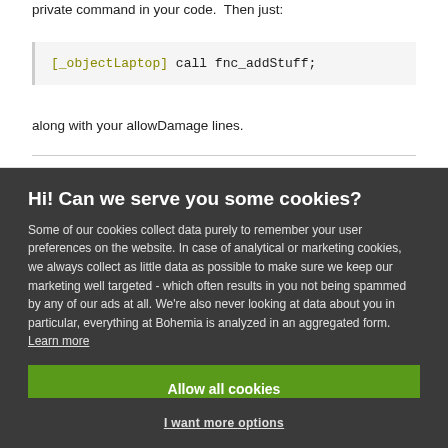private command in your code.  Then just:
along with your allowDamage lines.
Hi! Can we serve you some cookies?
Some of our cookies collect data purely to remember your user preferences on the website. In case of analytical or marketing cookies, we always collect as little data as possible to make sure we keep our marketing well targeted - which often results in you not being spammed by any of our ads at all. We're also never looking at data about you in particular, everything at Bohemia is analyzed in an aggregated form. Learn more
Allow all cookies
I want more options